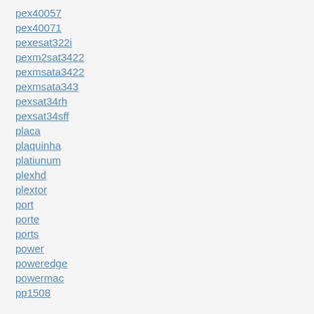pex40057
pex40071
pexesat322i
pexm2sat3422
pexmsata3422
pexmsata343
pexsat34rh
pexsat34sff
placa
plaquinha
platiunum
plexhd
plextor
port
porte
ports
power
poweredge
powermac
pp1508